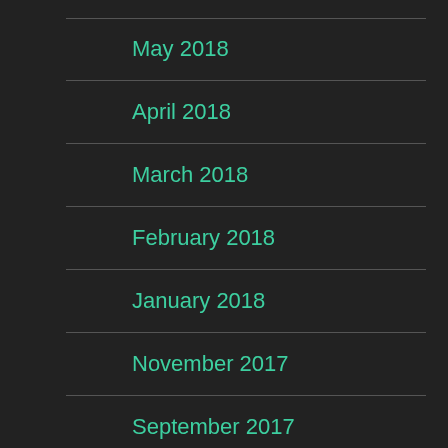May 2018
April 2018
March 2018
February 2018
January 2018
November 2017
September 2017
August 2017